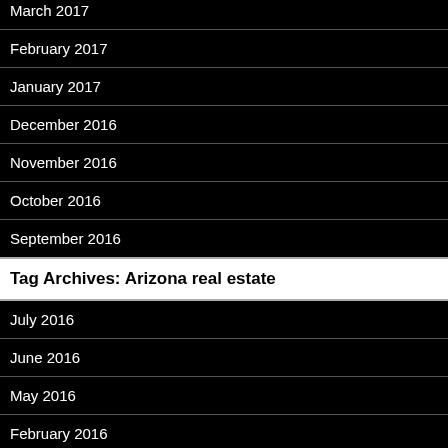March 2017
February 2017
January 2017
December 2016
November 2016
October 2016
September 2016
Tag Archives: Arizona real estate
July 2016
June 2016
May 2016
February 2016